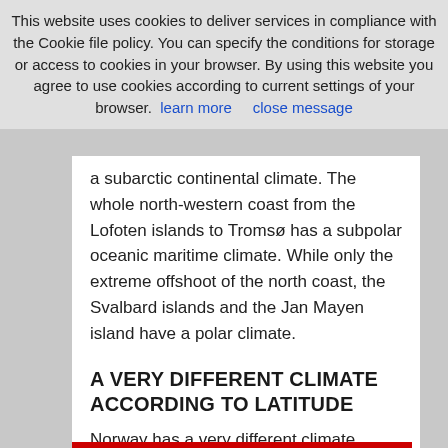This website uses cookies to deliver services in compliance with the Cookie file policy. You can specify the conditions for storage or access to cookies in your browser. By using this website you agree to use cookies according to current settings of your browser. learn more   close message
a subarctic continental climate. The whole north-western coast from the Lofoten islands to Tromsø has a subpolar oceanic maritime climate. While only the extreme offshoot of the north coast, the Svalbard islands and the Jan Mayen island have a polar climate.
A VERY DIFFERENT CLIMATE ACCORDING TO LATITUDE
Norway has a very different climate between the various areas of the country, this is mainly due to three factors: the enormous extension of the country from